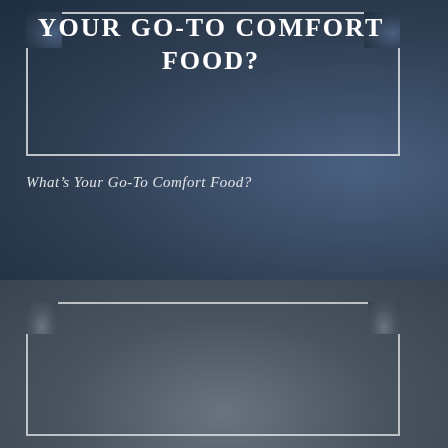YOUR GO-TO COMFORT FOOD?
What’s Your Go-To Comfort Food?
WHEN ENOUGH ISN’T ENOUGH